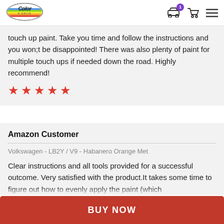[Figure (logo): Color N Drive logo — oval shaped emblem with stylized script text and rainbow stripe]
touch up paint. Take you time and follow the instructions and you won;t be disappointed! There was also plenty of paint for multiple touch ups if needed down the road. Highly recommend!
[Figure (other): 5 red star rating]
Amazon Customer
Volkswagen - LB2Y / V9 - Habanero Orange Met
Clear instructions and all tools provided for a successful outcome. Very satisfied with the product.It takes some time to figure out how to evenly apply the paint (which